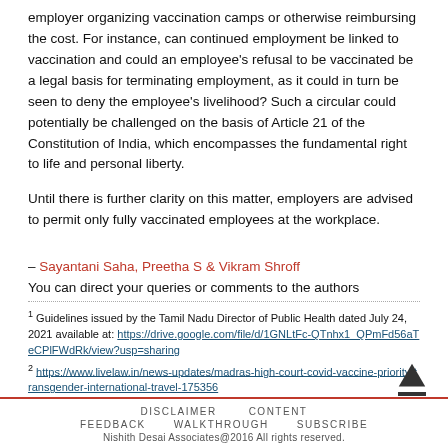employer organizing vaccination camps or otherwise reimbursing the cost. For instance, can continued employment be linked to vaccination and could an employee's refusal to be vaccinated be a legal basis for terminating employment, as it could in turn be seen to deny the employee's livelihood? Such a circular could potentially be challenged on the basis of Article 21 of the Constitution of India, which encompasses the fundamental right to life and personal liberty.
Until there is further clarity on this matter, employers are advised to permit only fully vaccinated employees at the workplace.
– Sayantani Saha, Preetha S & Vikram Shroff
You can direct your queries or comments to the authors
1 Guidelines issued by the Tamil Nadu Director of Public Health dated July 24, 2021 available at: https://drive.google.com/file/d/1GNLtFc-QTnhx1_QPmFd56aTeCPlFWdRk/view?usp=sharing
2 https://www.livelaw.in/news-updates/madras-high-court-covid-vaccine-priority-transgender-international-travel-175356
DISCLAIMER   CONTENT   FEEDBACK   WALKTHROUGH   SUBSCRIBE   Nishith Desai Associates@2016 All rights reserved.